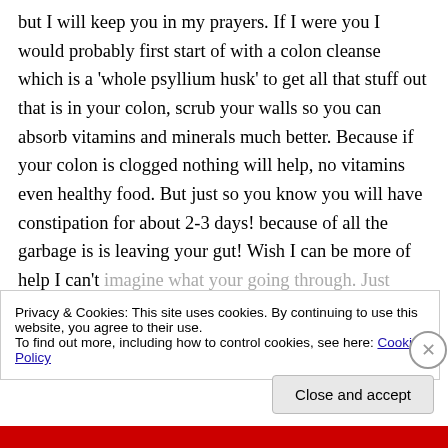but I will keep you in my prayers. If I were you I would probably first start of with a colon cleanse which is a 'whole psyllium husk' to get all that stuff out that is in your colon, scrub your walls so you can absorb vitamins and minerals much better. Because if your colon is clogged nothing will help, no vitamins even healthy food. But just so you know you will have constipation for about 2-3 days! because of all the garbage is is leaving your gut! Wish I can be more of help I can't imagine what your going through. Just don't give
Privacy & Cookies: This site uses cookies. By continuing to use this website, you agree to their use.
To find out more, including how to control cookies, see here: Cookie Policy